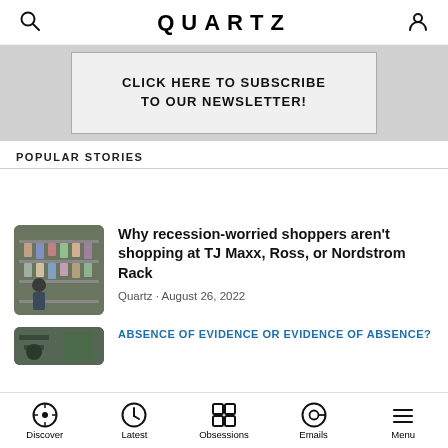QUARTZ
[Figure (other): Newsletter subscription advertisement banner: 'CLICK HERE TO SUBSCRIBE TO OUR NEWSLETTER!']
POPULAR STORIES
[Figure (photo): Thumbnail photo of a clothes rack in a retail store]
Why recession-worried shoppers aren't shopping at TJ Maxx, Ross, or Nordstrom Rack
Quartz · August 26, 2022
[Figure (photo): Thumbnail photo for second article]
ABSENCE OF EVIDENCE OR EVIDENCE OF ABSENCE?
Discover | Latest | Obsessions | Emails | Menu